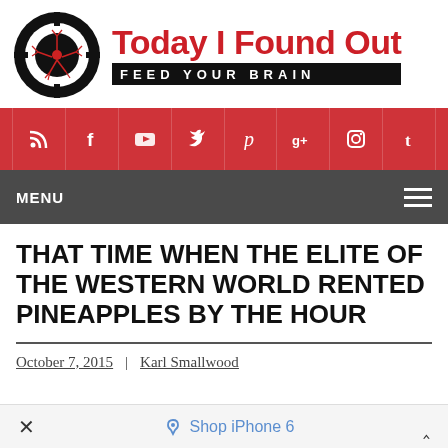[Figure (logo): Today I Found Out website logo: black circular crosshair/target with red neuron illustration inside, next to bold red text 'Today I Found Out' and black banner 'FEED YOUR BRAIN']
[Figure (infographic): Social media icon bar with red background: RSS, Facebook, YouTube, Twitter, Pinterest, Google+, Instagram, Tumblr icons in white]
MENU
THAT TIME WHEN THE ELITE OF THE WESTERN WORLD RENTED PINEAPPLES BY THE HOUR
October 7, 2015 | Karl Smallwood
× Shop iPhone 6 ^